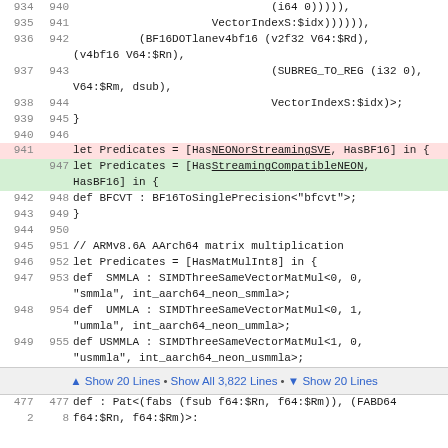[Figure (screenshot): Code viewer showing lines 934-955 of source file with two highlighted regions (pink and green diff), followed by a separator showing 'Show 20 Lines • Show All 3,822 Lines • Show 20 Lines', and a partial view of lines 477-478.]